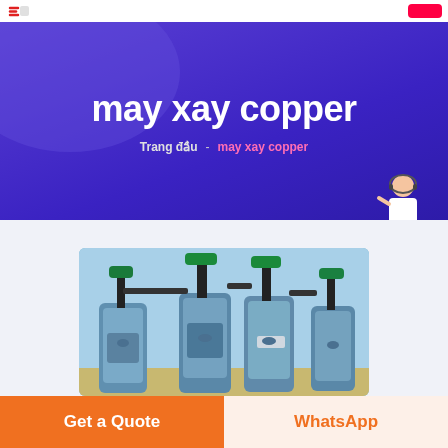Website header with logo and button
may xay copper
Trang đầu  -  may xay copper
[Figure (photo): Industrial copper grinding machines - large blue cylindrical grinders with green valve fittings and black pipes on top, multiple units arranged together outdoors]
Get a Quote
WhatsApp